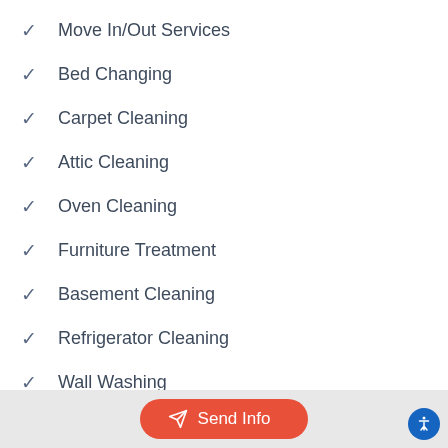Move In/Out Services
Bed Changing
Carpet Cleaning
Attic Cleaning
Oven Cleaning
Furniture Treatment
Basement Cleaning
Refrigerator Cleaning
Wall Washing
Green cleaning
Cabinet Cleaning
Spring/Summer Cleaning
Send Info